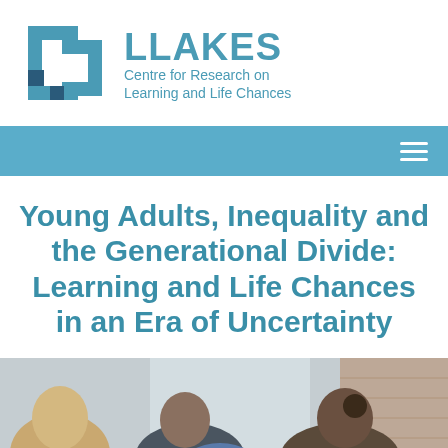[Figure (logo): LLAKES Centre for Research on Learning and Life Chances logo with square bracket icon in blue]
Young Adults, Inequality and the Generational Divide: Learning and Life Chances in an Era of Uncertainty
[Figure (photo): Photo of young adults/students sitting together, viewed from behind, near a window with brick wall visible]